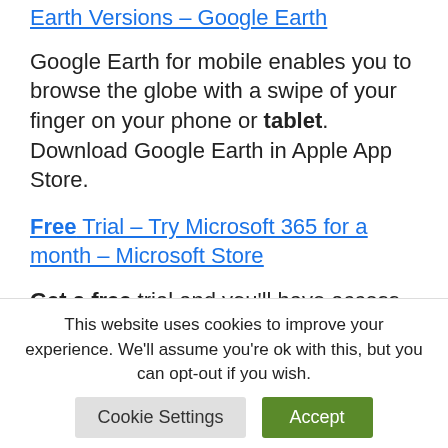Earth Versions – Google Earth
Google Earth for mobile enables you to browse the globe with a swipe of your finger on your phone or tablet. Download Google Earth in Apple App Store.
Free Trial – Try Microsoft 365 for a month – Microsoft Store
Get a free trial and you'll have access to the latest AI-powered apps,
This website uses cookies to improve your experience. We'll assume you're ok with this, but you can opt-out if you wish.
Cookie Settings | Accept